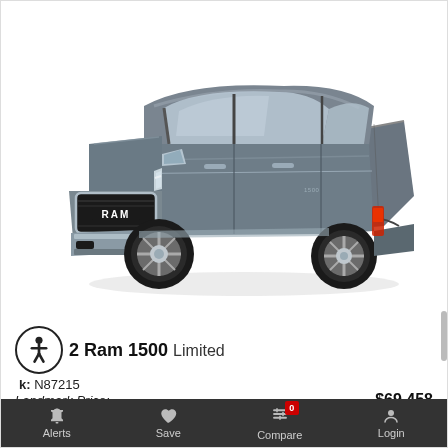[Figure (photo): Gray RAM 1500 Limited pickup truck shown in a 3/4 front-left angle on a white background.]
2022 Ram 1500 Limited
Stock: N87215
Landmark Price: $69,458
Alerts  Save  Compare 0  Login